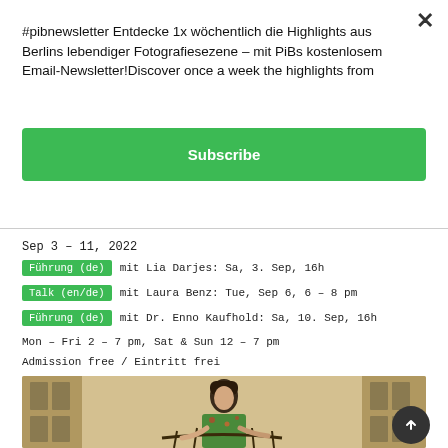#pibnewsletter Entdecke 1x wöchentlich die Highlights aus Berlins lebendiger Fotografiesezene – mit PiBs kostenlosem Email-Newsletter!Discover once a week the highlights from
[Figure (other): Green Subscribe button]
Sep 3 – 11, 2022
Führung (de)  mit Lia Darjes: Sa, 3. Sep, 16h
Talk (en/de)  mit Laura Benz: Tue, Sep 6, 6 – 8 pm
Führung (de)  mit Dr. Enno Kaufhold: Sa, 10. Sep, 16h
Mon – Fri 2 – 7 pm, Sat & Sun 12 – 7 pm
Admission free / Eintritt frei
[Figure (photo): Young woman with bob haircut wearing floral dress, leaning on ornate wrought-iron balcony railing, building facade with shuttered windows in background]